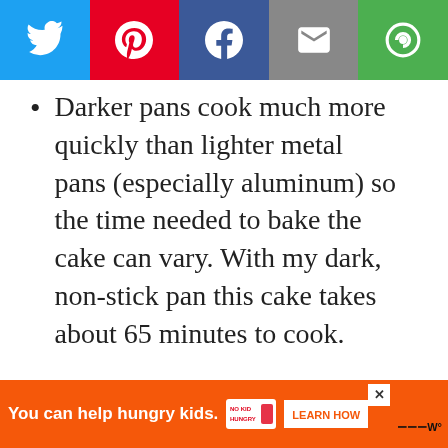[Figure (screenshot): Social share bar with Twitter (blue), Pinterest (red), Facebook (dark blue), Email (gray), and Share (green) buttons]
Darker pans cook much more quickly than lighter metal pans (especially aluminum) so the time needed to bake the cake can vary. With my dark, non-stick pan this cake takes about 65 minutes to cook.
Images and text © South Your Mouth LLC
[Figure (screenshot): Instagram promotional block with purple background showing Instagram icon, 'Did you make this recipe?' headline, and 'Tag @southyourmouth on instagram and hashtag it' text]
[Figure (screenshot): What's Next panel showing Chocolate Pound Cake recommendation with thumbnail photo]
[Figure (screenshot): Advertisement bar: 'You can help hungry kids.' No Kid Hungry logo with Learn How button]